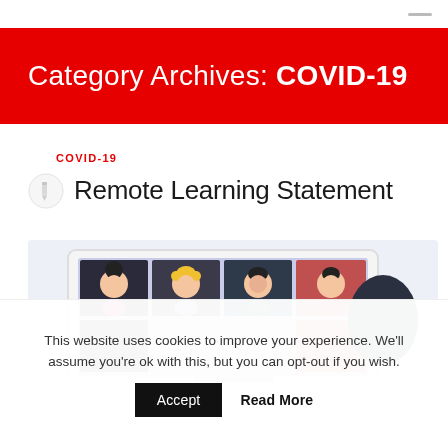Category Archives: COVID-19
COVID-19
Remote Learning Statement
[Figure (illustration): Illustration of a tablet showing a video call with cartoon children avatars in a grid layout, with a dark silhouette figure to the right, on a light lavender background.]
This website uses cookies to improve your experience. We'll assume you're ok with this, but you can opt-out if you wish.
Accept   Read More